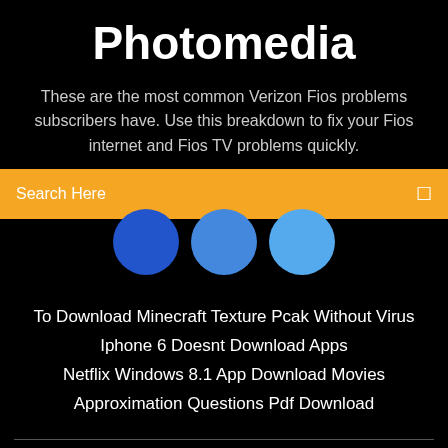Photomedia
These are the most common Verizon Fios problems subscribers have. Use this breakdown to fix your Fios internet and Fios TV problems quickly.
Search Here
[Figure (illustration): Three overlapping blue circles of varying shades, partially visible, centered on a black background.]
To Download Minecraft Texture Pcak Without Virus
Iphone 6 Doesnt Download Apps
Netflix Windows 8.1 App Download Movies
Approximation Questions Pdf Download
Copyright ©2020 All rights reserved | Theme...